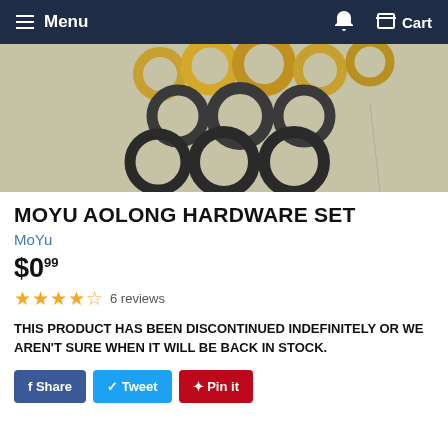Menu   Cart
[Figure (photo): Close-up photo of metal washers/rings hardware set — gold-toned rings at top, black rings arranged in rows below, on a light background]
MOYU AOLONG HARDWARE SET
MoYu
$0.99
6 reviews
THIS PRODUCT HAS BEEN DISCONTINUED INDEFINITELY OR WE AREN'T SURE WHEN IT WILL BE BACK IN STOCK.
f Share   y Tweet   @ Pin it